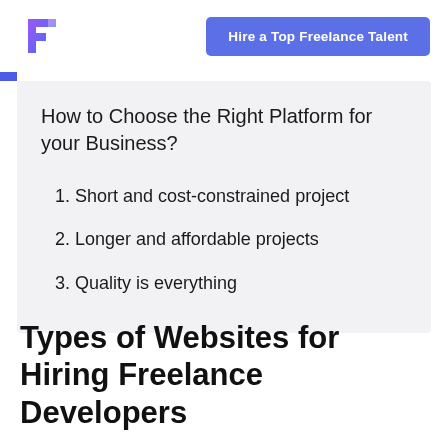[Figure (logo): Freelancer/platform logo icon — stylized purple and blue F shape]
Hire a Top Freelance Talent
How to Choose the Right Platform for your Business?
1. Short and cost-constrained project
2. Longer and affordable projects
3. Quality is everything
Types of Websites for Hiring Freelance Developers